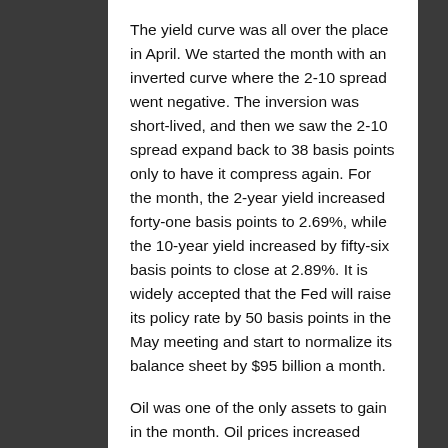The yield curve was all over the place in April. We started the month with an inverted curve where the 2-10 spread went negative. The inversion was short-lived, and then we saw the 2-10 spread expand back to 38 basis points only to have it compress again. For the month, the 2-year yield increased forty-one basis points to 2.69%, while the 10-year yield increased by fifty-six basis points to close at 2.89%. It is widely accepted that the Fed will raise its policy rate by 50 basis points in the May meeting and start to normalize its balance sheet by $95 billion a month.
Oil was one of the only assets to gain in the month. Oil prices increased 4.5%...